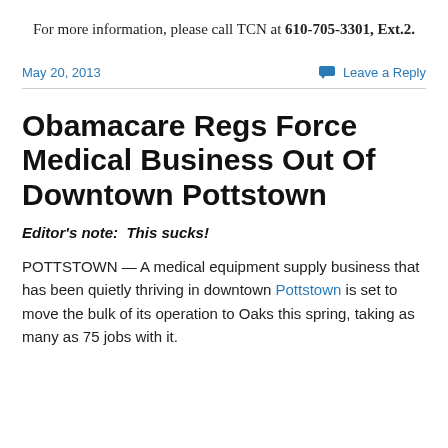For more information, please call TCN at 610-705-3301, Ext.2.
May 20, 2013    Leave a Reply
Obamacare Regs Force Medical Business Out Of Downtown Pottstown
Editor's note:  This sucks!
POTTSTOWN — A medical equipment supply business that has been quietly thriving in downtown Pottstown is set to move the bulk of its operation to Oaks this spring, taking as many as 75 jobs with it.